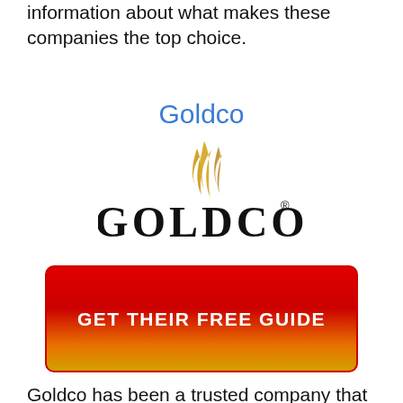information about what makes these companies the top choice.
Goldco
[Figure (logo): Goldco company logo with golden flame motif above bold GOLDCO text with registered trademark symbol]
[Figure (infographic): Red to orange-gold gradient button with white bold text reading GET THEIR FREE GUIDE]
Goldco has been a trusted company that helps individuals safeguard their retirement financial savings by using the technique of rolling over their certified pension such as an individual...